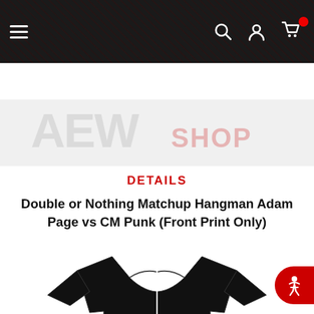[Figure (screenshot): Mobile website navigation bar with hamburger menu on left, search/account/cart icons on right on dark textured background]
[Figure (screenshot): Red button bar with ADD TO CART and ADD TO WISHLIST buttons]
DETAILS
Double or Nothing Matchup Hangman Adam Page vs CM Punk (Front Print Only)
[Figure (illustration): Black t-shirt with Pro Wrestling Tees logo showing WIDTH and LENGTH measurement arrows]